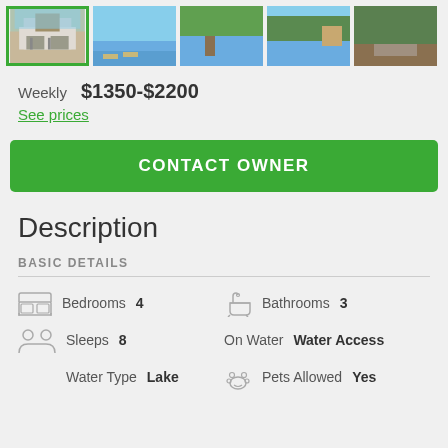[Figure (photo): Row of 5 property thumbnail photos, first one selected with green border]
Weekly  $1350-$2200
See prices
CONTACT OWNER
Description
BASIC DETAILS
| Icon | Detail | Value | Icon | Detail | Value |
| --- | --- | --- | --- | --- | --- |
| bed | Bedrooms | 4 | bath | Bathrooms | 3 |
| people | Sleeps | 8 |  | On Water | Water Access |
|  | Water Type | Lake | pet | Pets Allowed | Yes |